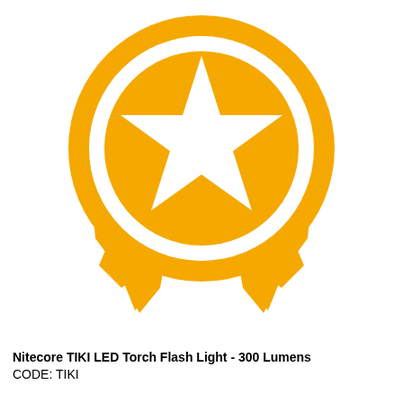[Figure (illustration): Gold/yellow award ribbon icon with a large circle containing a white five-pointed star, and two ribbon tails with zigzag (chevron) ends hanging below.]
Nitecore TIKI LED Torch Flash Light - 300 Lumens
CODE: TIKI